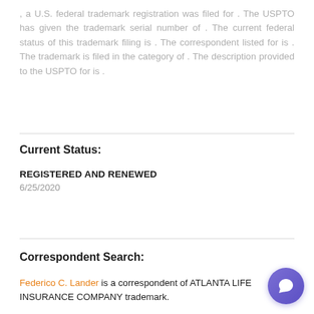, a U.S. federal trademark registration was filed for . The USPTO has given the trademark serial number of . The current federal status of this trademark filing is . The correspondent listed for is . The trademark is filed in the category of . The description provided to the USPTO for is .
Current Status:
REGISTERED AND RENEWED
6/25/2020
Correspondent Search:
Federico C. Lander is a correspondent of ATLANTA LIFE INSURANCE COMPANY trademark.